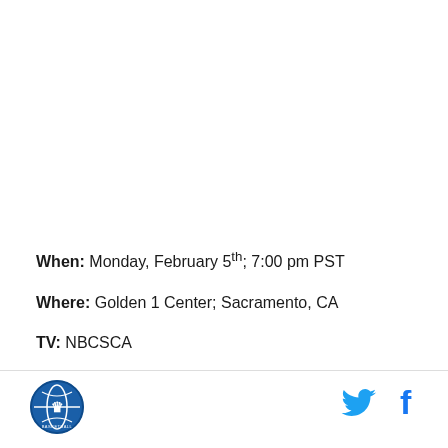When: Monday, February 5th; 7:00 pm PST
Where: Golden 1 Center; Sacramento, CA
TV: NBCSCA
[Figure (logo): Circular basketball organization logo in blue]
[Figure (logo): Twitter bird icon in blue]
[Figure (logo): Facebook 'f' icon in blue]